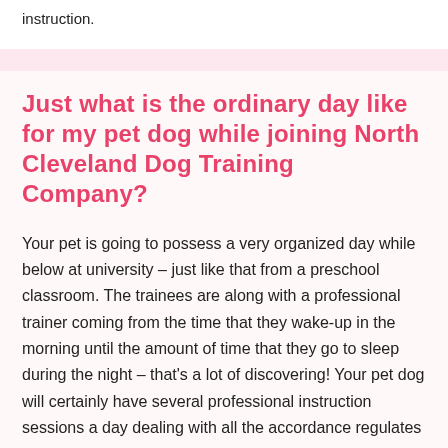instruction.
Just what is the ordinary day like for my pet dog while joining North Cleveland Dog Training Company?
Your pet is going to possess a very organized day while below at university – just like that from a preschool classroom. The trainees are along with a professional trainer coming from the time that they wake-up in the morning until the amount of time that they go to sleep during the night – that's a lot of discovering! Your pet dog will certainly have several professional instruction sessions a day dealing with all the accordance regulates – heel, rest, remain, down as well as come. Our team likewise have the pet dogs out right into the